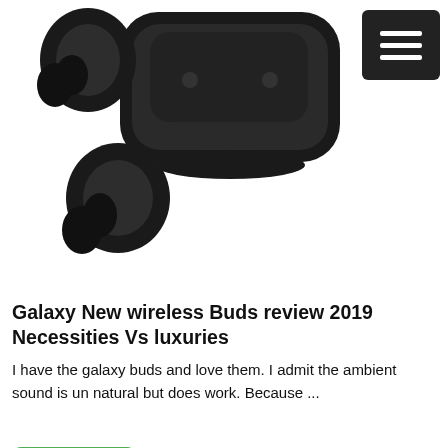[Figure (photo): Samsung Galaxy wireless earbuds (Galaxy Buds) shown outside their black charging case, on a white background. Two earbud units and the open case are visible.]
[Figure (other): Black square menu/hamburger button with three horizontal white lines, positioned top-right.]
Galaxy New wireless Buds review 2019 Necessities Vs luxuries
I have the galaxy buds and love them. I admit the ambient sound is un natural but does work. Because ...
[Figure (other): Green rounded rectangle button labeled 'Read More']
[Figure (photo): Smartphone with colorful glowing circles/waves effect. Text overlay reads: 'More cell towers Affects health! Consumes More battery.. [cut off]' in yellow, red, and black text.]